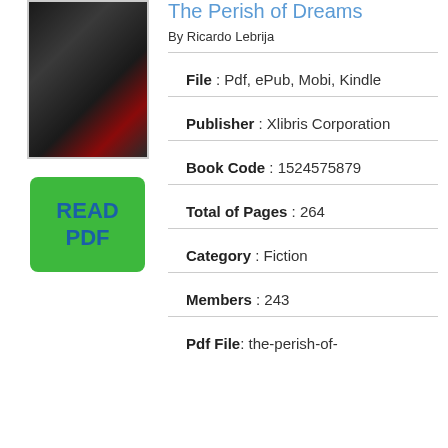The Perish of Dreams
By Ricardo Lebrija
[Figure (photo): Book cover image showing a dark figure, predominantly black and dark red tones]
[Figure (other): Green READ PDF button]
File : Pdf, ePub, Mobi, Kindle
Publisher : Xlibris Corporation
Book Code : 1524575879
Total of Pages : 264
Category : Fiction
Members : 243
Pdf File: the-perish-of-